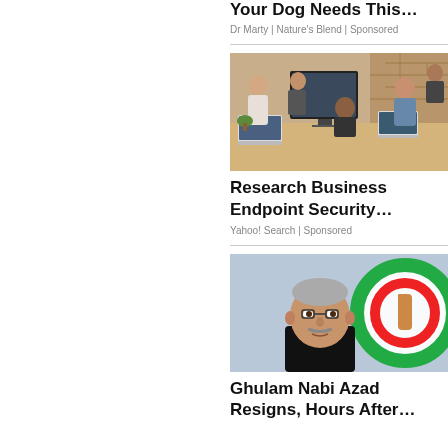Your Dog Needs This…
Dr Marty | Nature's Blend | Sponsored
[Figure (photo): Office workers collaborating around computers and laptops in an office with brick wall]
Research Business Endpoint Security…
Yahoo! Search | Sponsored
[Figure (photo): Elderly Indian man speaking, with Indian National Congress flag/logo visible in background]
Ghulam Nabi Azad Resigns, Hours After…